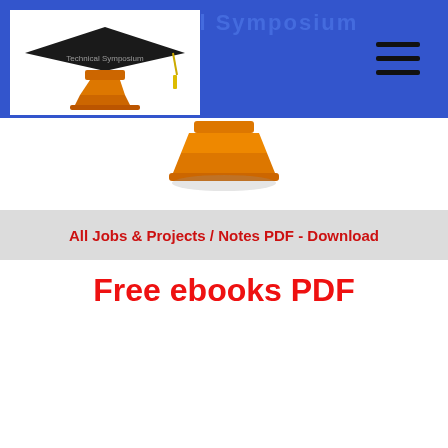[Figure (logo): Technical Symposium logo: graduation cap with yellow tassel on orange trophy/stand pedestal, white background]
[Figure (illustration): Hamburger menu icon (three horizontal lines) in top right of blue header]
[Figure (illustration): Partial logo visible below header — orange pedestal/stand bottom portion on white background]
All Jobs & Projects / Notes PDF - Download
Free ebooks PDF